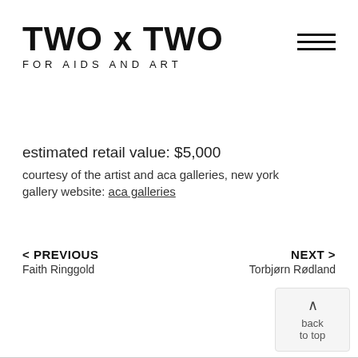TWO x TWO FOR AIDS AND ART
estimated retail value: $5,000
courtesy of the artist and aca galleries, new york
gallery website: aca galleries
< PREVIOUS Faith Ringgold
NEXT > Torbjørn Rødland
^ back to top